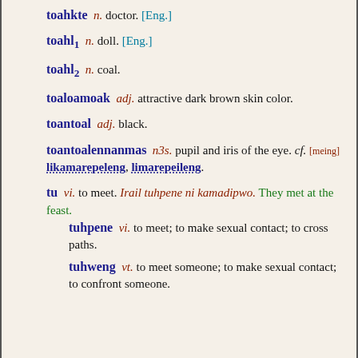toahkte  n. doctor. [Eng.]
toahl1  n. doll. [Eng.]
toahl2  n. coal.
toaloamoak  adj. attractive dark brown skin color.
toantoal  adj. black.
toantoalennanmas  n3s. pupil and iris of the eye. cf. [meing] likamarepeleng, limarepeileng.
tu  vi. to meet. Irail tuhpene ni kamadipwo. They met at the feast. tuhpene vi. to meet; to make sexual contact; to cross paths. tuhweng vt. to meet someone; to make sexual contact; to confront someone.